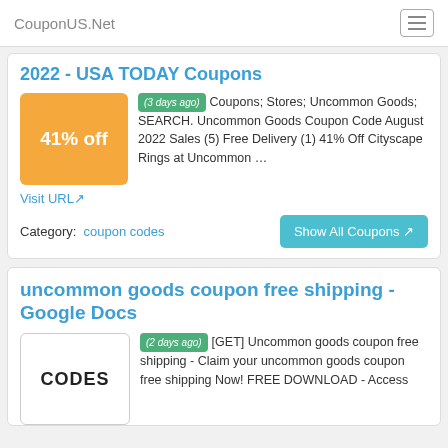CouponUS.Net
2022 - USA TODAY Coupons
(3 days ago) Coupons; Stores; Uncommon Goods; SEARCH. Uncommon Goods Coupon Code August 2022 Sales (5) Free Delivery (1) 41% Off Cityscape Rings at Uncommon …
Visit URL
Category: coupon codes
Show All Coupons
uncommon goods coupon free shipping - Google Docs
(2 days ago) [GET] Uncommon goods coupon free shipping - Claim your uncommon goods coupon free shipping Now! FREE DOWNLOAD - Access